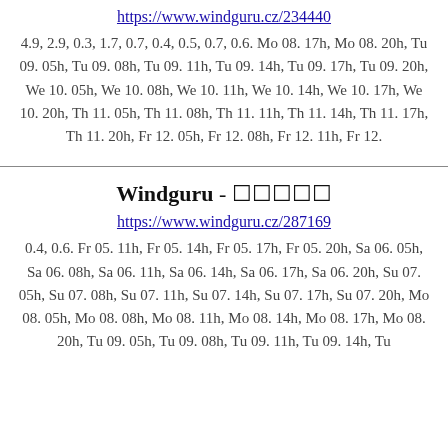https://www.windguru.cz/234440
4.9, 2.9, 0.3, 1.7, 0.7, 0.4, 0.5, 0.7, 0.6. Mo 08. 17h, Mo 08. 20h, Tu 09. 05h, Tu 09. 08h, Tu 09. 11h, Tu 09. 14h, Tu 09. 17h, Tu 09. 20h, We 10. 05h, We 10. 08h, We 10. 11h, We 10. 14h, We 10. 17h, We 10. 20h, Th 11. 05h, Th 11. 08h, Th 11. 11h, Th 11. 14h, Th 11. 17h, Th 11. 20h, Fr 12. 05h, Fr 12. 08h, Fr 12. 11h, Fr 12.
Windguru - ☐☐☐☐☐
https://www.windguru.cz/287169
0.4, 0.6. Fr 05. 11h, Fr 05. 14h, Fr 05. 17h, Fr 05. 20h, Sa 06. 05h, Sa 06. 08h, Sa 06. 11h, Sa 06. 14h, Sa 06. 17h, Sa 06. 20h, Su 07. 05h, Su 07. 08h, Su 07. 11h, Su 07. 14h, Su 07. 17h, Su 07. 20h, Mo 08. 05h, Mo 08. 08h, Mo 08. 11h, Mo 08. 14h, Mo 08. 17h, Mo 08. 20h, Tu 09. 05h, Tu 09. 08h, Tu 09. 11h, Tu 09. 14h, Tu